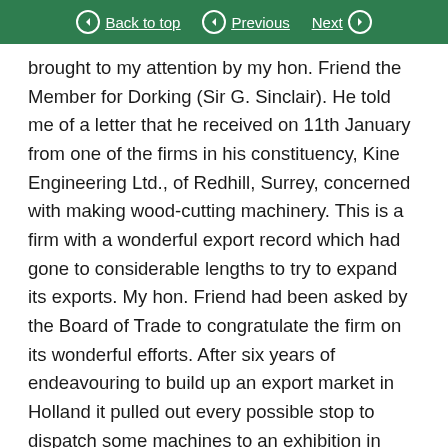Back to top  Previous  Next
brought to my attention by my hon. Friend the Member for Dorking (Sir G. Sinclair). He told me of a letter that he received on 11th January from one of the firms in his constituency, Kine Engineering Ltd., of Redhill, Surrey, concerned with making wood-cutting machinery. This is a firm with a wonderful export record which had gone to considerable lengths to try to expand its exports. My hon. Friend had been asked by the Board of Trade to congratulate the firm on its wonderful efforts. After six years of endeavouring to build up an export market in Holland it pulled out every possible stop to dispatch some machines to an exhibition in Holland.
Normally, its overseas delivery was five to six